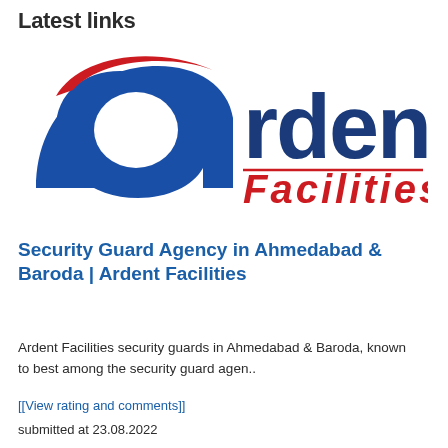Latest links
[Figure (logo): Ardent Facilities logo: blue stylized letter 'a' with red swoosh accent, with 'rdent' in dark blue bold text, a red horizontal line, and 'Facilities' in red italic text below]
Security Guard Agency in Ahmedabad & Baroda | Ardent Facilities
Ardent Facilities security guards in Ahmedabad & Baroda, known to best among the security guard agen..
[[View rating and comments]]
submitted at 23.08.2022